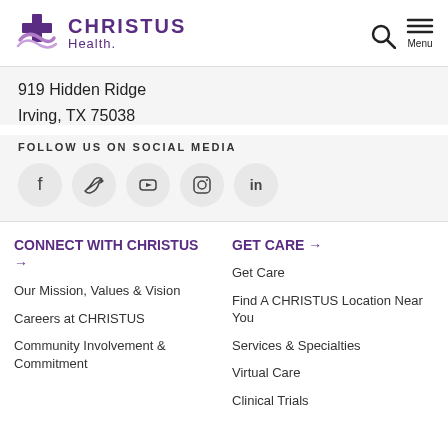CHRISTUS Health
919 Hidden Ridge
Irving, TX 75038
FOLLOW US ON SOCIAL MEDIA
[Figure (infographic): Social media icon circles: Facebook, Twitter, YouTube, Instagram, LinkedIn]
CONNECT WITH CHRISTUS →
Our Mission, Values & Vision
Careers at CHRISTUS
Community Involvement & Commitment
GET CARE →
Get Care
Find A CHRISTUS Location Near You
Services & Specialties
Virtual Care
Clinical Trials